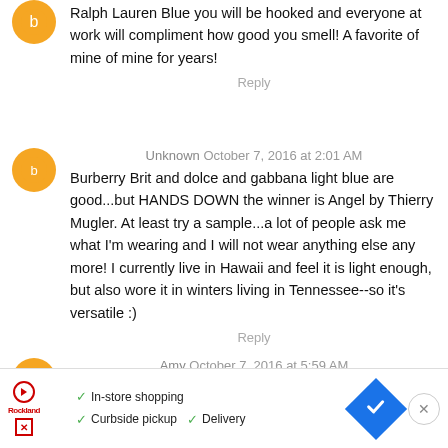Ralph Lauren Blue you will be hooked and everyone at work will compliment how good you smell! A favorite of mine of mine for years!
Reply
Unknown October 7, 2016 at 2:01 AM
Burberry Brit and dolce and gabbana light blue are good...but HANDS DOWN the winner is Angel by Thierry Mugler. At least try a sample...a lot of people ask me what I'm wearing and I will not wear anything else any more! I currently live in Hawaii and feel it is light enough, but also wore it in winters living in Tennessee--so it's versatile :)
Reply
Amy October 7, 2016 at 5:59 AM
[Figure (infographic): Advertisement banner: In-store shopping, Curbside pickup, Delivery with navigation icon]